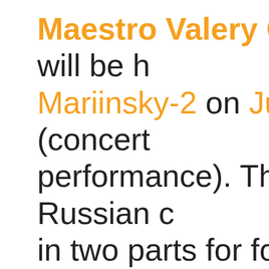Maestro Valery Gergiev will be h Mariinsky-2 on June 22 (concert performance). This is a Russian c in two parts for four soloists, mixe trumpet, kettledrums and percuss opera, which has been described the most outstanding works of the based on the texts of The Life of t Avvakum and The Life of Boyarina and deals with an extremely dr